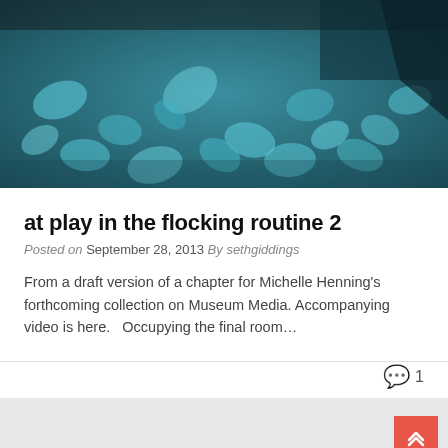[Figure (photo): Abstract close-up photo of blue/teal colored paper confetti or petals scattered on a dark surface, occupying the top portion of the page.]
at play in the flocking routine 2
Posted on September 28, 2013 By sethgiddings
From a draft version of a chapter for Michelle Henning's forthcoming collection on Museum Media. Accompanying video is here.   Occupying the final room…
💬 1